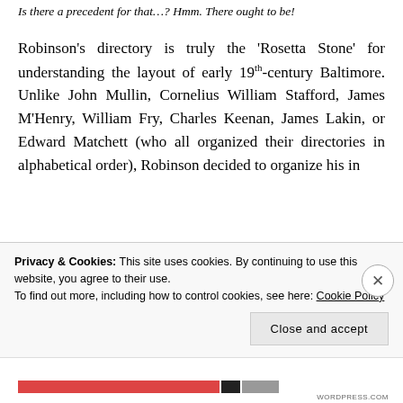Is there a precedent for that…? Hmm. There ought to be!
Robinson's directory is truly the 'Rosetta Stone' for understanding the layout of early 19th-century Baltimore. Unlike John Mullin, Cornelius William Stafford, James M'Henry, William Fry, Charles Keenan, James Lakin, or Edward Matchett (who all organized their directories in alphabetical order), Robinson decided to organize his in
Privacy & Cookies: This site uses cookies. By continuing to use this website, you agree to their use.
To find out more, including how to control cookies, see here: Cookie Policy